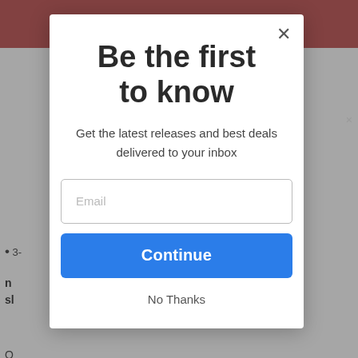[Figure (screenshot): Background of a webpage with dark red header bar and gray content area, partially visible text including a bullet point starting with '3-' and bold text fragments.]
Be the first to know
Get the latest releases and best deals delivered to your inbox
Email
Continue
No Thanks